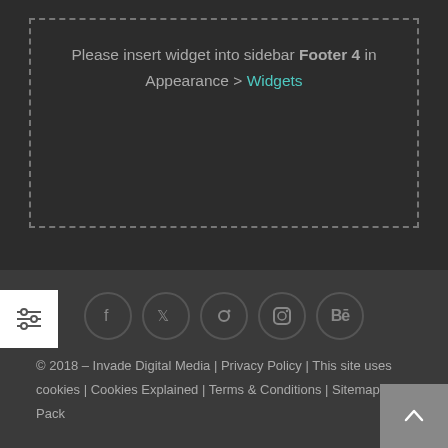Please insert widget into sidebar Footer 4 in Appearance > Widgets
[Figure (other): Social media icon row: Facebook, Twitter, Pinterest, Instagram, Behance — each in a circular border]
© 2018 – Invade Digital Media | Privacy Policy | This site uses cookies | Cookies Explained | Terms & Conditions | Sitemap | Info Pack